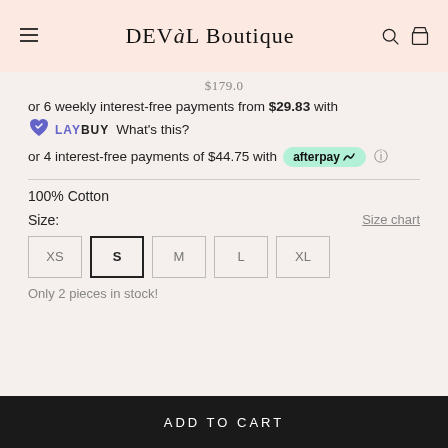DEVàL Boutique
$179.0
or 6 weekly interest-free payments from $29.83 with LAYBUY What's this?
or 4 interest-free payments of $44.75 with afterpay
100% Cotton
Size:
Size chart
XS S M L XL
Only 2 pieces in stock!
ADD TO CART